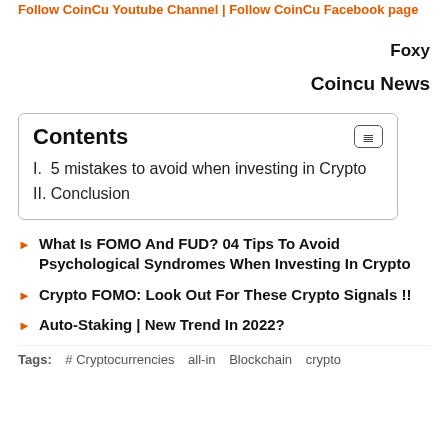Follow CoinCu Youtube Channel | Follow CoinCu Facebook page
Foxy
Coincu News
| Contents |
| --- |
| I.  5 mistakes to avoid when investing in Crypto |
| II. Conclusion |
What Is FOMO And FUD? 04 Tips To Avoid Psychological Syndromes When Investing In Crypto
Crypto FOMO: Look Out For These Crypto Signals !!
Auto-Staking | New Trend In 2022?
Tags:  # Cryptocurrencies   all-in   Blockchain   crypto